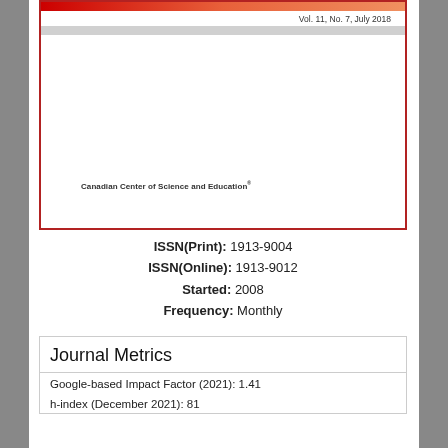Vol. 11, No. 7,  July 2018
[Figure (illustration): Journal cover card with red gradient top bar, gray bar, and publisher name 'Canadian Center of Science and Education' at bottom left]
ISSN(Print): 1913-9004
ISSN(Online): 1913-9012
Started: 2008
Frequency: Monthly
Journal Metrics
Google-based Impact Factor (2021): 1.41
h-index (December 2021): 81